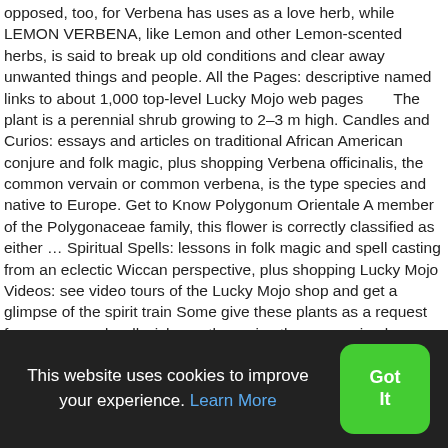opposed, too, for Verbena has uses as a love herb, while LEMON VERBENA, like Lemon and other Lemon-scented herbs, is said to break up old conditions and clear away unwanted things and people. All the Pages: descriptive named links to about 1,000 top-level Lucky Mojo web pages      The plant is a perennial shrub growing to 2–3 m high. Candles and Curios: essays and articles on traditional African American conjure and folk magic, plus shopping Verbena officinalis, the common vervain or common verbena, is the type species and native to Europe. Get to Know Polygonum Orientale A member of the Polygonaceae family, this flower is correctly classified as either … Spiritual Spells: lessons in folk magic and spell casting from an eclectic Wiccan perspective, plus shopping Lucky Mojo Videos: see video tours of the Lucky Mojo shop and get a glimpse of the spirit train Some give these plants as a request for prayers and well wishes, others give them as a simple expression of love. With its imperial symbolism, shades of
This website uses cookies to improve your experience. Learn More
Got It